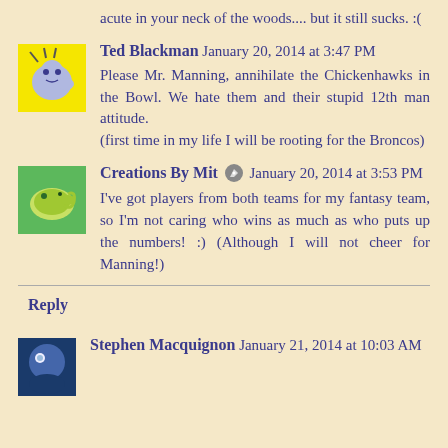acute in your neck of the woods.... but it still sucks. :(
Ted Blackman  January 20, 2014 at 3:47 PM
Please Mr. Manning, annihilate the Chickenhawks in the Bowl. We hate them and their stupid 12th man attitude.
(first time in my life I will be rooting for the Broncos)
Creations By Mit  January 20, 2014 at 3:53 PM
I've got players from both teams for my fantasy team, so I'm not caring who wins as much as who puts up the numbers! :) (Although I will not cheer for Manning!)
Reply
Stephen Macquignon  January 21, 2014 at 10:03 AM